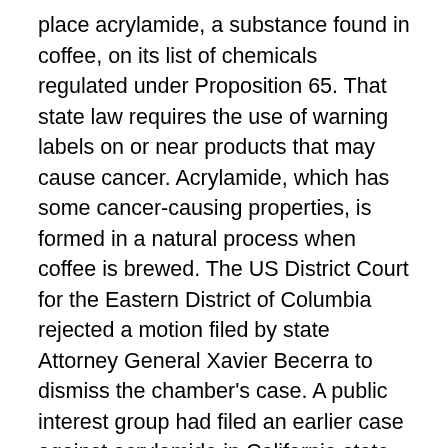place acrylamide, a substance found in coffee, on its list of chemicals regulated under Proposition 65. That state law requires the use of warning labels on or near products that may cause cancer. Acrylamide, which has some cancer-causing properties, is formed in a natural process when coffee is brewed. The US District Court for the Eastern District of Columbia rejected a motion filed by state Attorney General Xavier Becerra to dismiss the chamber's case. A public interest group had filed an earlier case against acrylamide in California state court and obtained a ruling that the substance should be placed on the list. The state's Office of Environmental Health Hazard Assessment then issued a ruling against that state court decision, and the state attorney general took up the anti-acrylamide cause. Judge